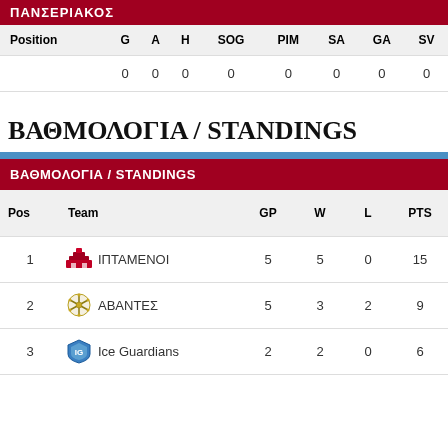| Position | G | A | H | SOG | PIM | SA | GA | SV |
| --- | --- | --- | --- | --- | --- | --- | --- | --- |
|  | 0 | 0 | 0 | 0 | 0 | 0 | 0 | 0 |
ΒΑΘΜΟΛΟΓΙΑ / STANDINGS
| Pos | Team | GP | W | L | PTS |
| --- | --- | --- | --- | --- | --- |
| 1 | ΙΠΤΑΜΕΝΟΙ | 5 | 5 | 0 | 15 |
| 2 | ΑΒΑΝΤΕΣ | 5 | 3 | 2 | 9 |
| 3 | Ice Guardians | 2 | 2 | 0 | 6 |